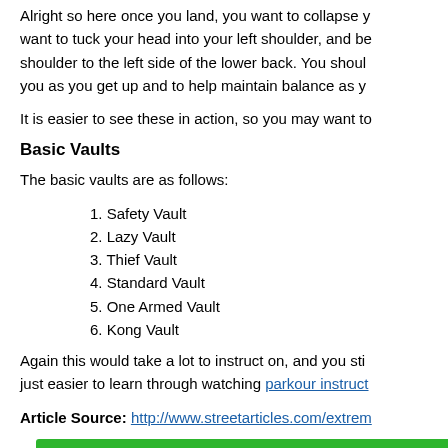Alright so here once you land, you want to collapse y... want to tuck your head into your left shoulder, and be... shoulder to the left side of the lower back. You shoul... you as you get up and to help maintain balance as y...
It is easier to see these in action, so you may want to...
Basic Vaults
The basic vaults are as follows:
1. Safety Vault
2. Lazy Vault
3. Thief Vault
4. Standard Vault
5. One Armed Vault
6. Kong Vault
Again this would take a lot to instruct on, and you sti... just easier to learn through watching parkour instruct...
Article Source: http://www.streetarticles.com/extrem...
[Figure (other): Green button: Like This Article? Click here to Like, with count 0]